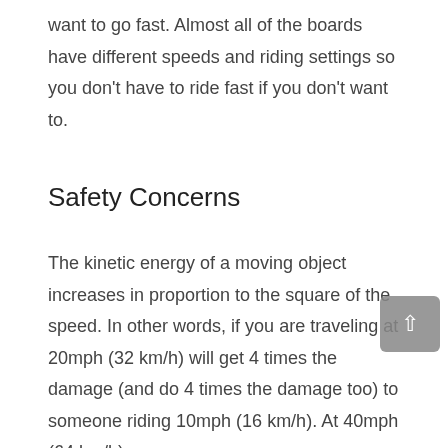want to go fast. Almost all of the boards have different speeds and riding settings so you don't have to ride fast if you don't want to.
Safety Concerns
The kinetic energy of a moving object increases in proportion to the square of the speed. In other words, if you are traveling at 20mph (32 km/h) will get 4 times the damage (and do 4 times the damage too) to someone riding 10mph (16 km/h). At 40mph (64 km/h)